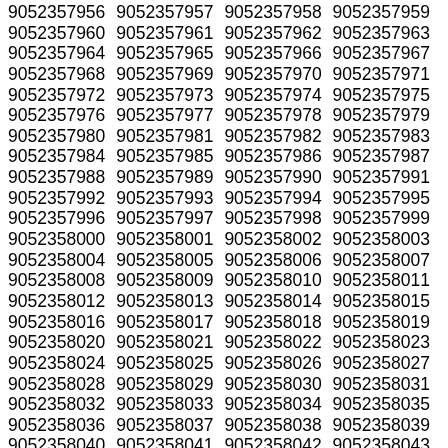9052357956 9052357957 9052357958 9052357959 9052357960 9052357961 9052357962 9052357963 9052357964 9052357965 9052357966 9052357967 9052357968 9052357969 9052357970 9052357971 9052357972 9052357973 9052357974 9052357975 9052357976 9052357977 9052357978 9052357979 9052357980 9052357981 9052357982 9052357983 9052357984 9052357985 9052357986 9052357987 9052357988 9052357989 9052357990 9052357991 9052357992 9052357993 9052357994 9052357995 9052357996 9052357997 9052357998 9052357999 9052358000 9052358001 9052358002 9052358003 9052358004 9052358005 9052358006 9052358007 9052358008 9052358009 9052358010 9052358011 9052358012 9052358013 9052358014 9052358015 9052358016 9052358017 9052358018 9052358019 9052358020 9052358021 9052358022 9052358023 9052358024 9052358025 9052358026 9052358027 9052358028 9052358029 9052358030 9052358031 9052358032 9052358033 9052358034 9052358035 9052358036 9052358037 9052358038 9052358039 9052358040 9052358041 9052358042 9052358043 9052358044 9052358045 9052358046 9052358047 9052358048 9052358049 9052358050 9052358051 9052358052 9052358053 9052358054 9052358055 9052358056 9052358057 9052358058 9052358059 9052358060 9052358061 9052358062 9052358063 9052358064 9052358065 9052358066 9052358067 9052358068 9052358069 9052358070 9052358071 9052358072 9052358073 9052358074 9052358075 9052358076 9052358077 9052358078 9052358079 9052358080 9052358081 9052358082 9052358083 9052358084 9052358085